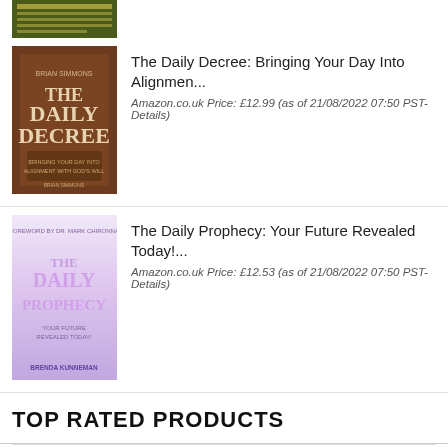[Figure (photo): Book cover at top of page, partially cropped, green/dark colored book]
[Figure (photo): Book cover for 'The Daily Decree' by Brian Simmons, brown/wooden background with papers]
The Daily Decree: Bringing Your Day Into Alignment...
Amazon.co.uk Price: £12.99 (as of 21/08/2022 07:50 PST- Details)
[Figure (photo): Book cover for 'The Daily Prophecy' by Brenda Kunneman, light pink/purple gradient with title text]
The Daily Prophecy: Your Future Revealed Today!...
Amazon.co.uk Price: £12.53 (as of 21/08/2022 07:50 PST- Details)
TOP RATED PRODUCTS
[Figure (photo): Book cover for 'Seven Days That Divide the World: The Beginning A...' partially shown]
Seven Days That Divide the World: The Beginning A...
Amazon.co.uk Price: £6.99 (as of 21/08/2022 07:51 PST- Details)